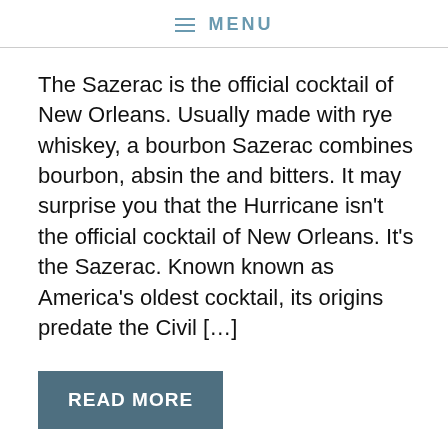MENU
The Sazerac is the official cocktail of New Orleans. Usually made with rye whiskey, a bourbon Sazerac combines bourbon, absinthe and bitters. It may surprise you that the Hurricane isn't the official cocktail of New Orleans. It's the Sazerac. Known known as America's oldest cocktail, its origins predate the Civil […]
READ MORE